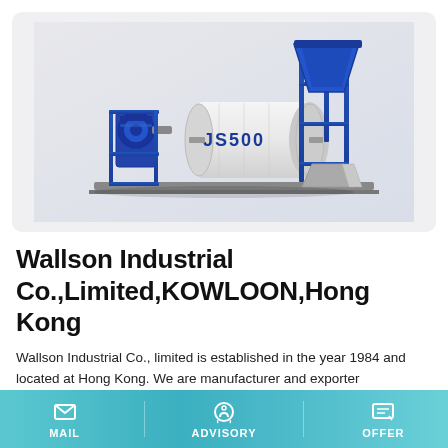[Figure (photo): JS500 concrete mixer machine, industrial equipment in blue and white colors, side view showing mixing drum labeled JS500, hopper at top, motor on left side]
Wallson Industrial Co.,Limited,KOWLOON,Hong Kong
Wallson Industrial Co., limited is established in the year 1984 and located at Hong Kong. We are manufacturer and exporter
MAIL   ADVISORY   OFFER